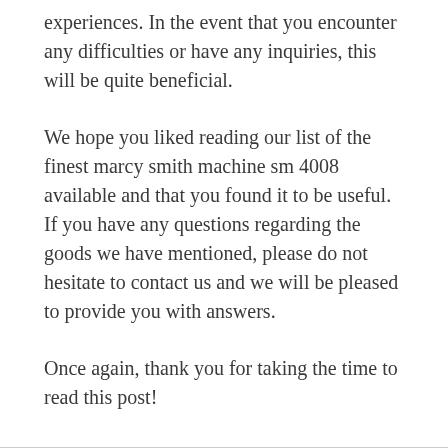experiences. In the event that you encounter any difficulties or have any inquiries, this will be quite beneficial.
We hope you liked reading our list of the finest marcy smith machine sm 4008 available and that you found it to be useful. If you have any questions regarding the goods we have mentioned, please do not hesitate to contact us and we will be pleased to provide you with answers.
Once again, thank you for taking the time to read this post!